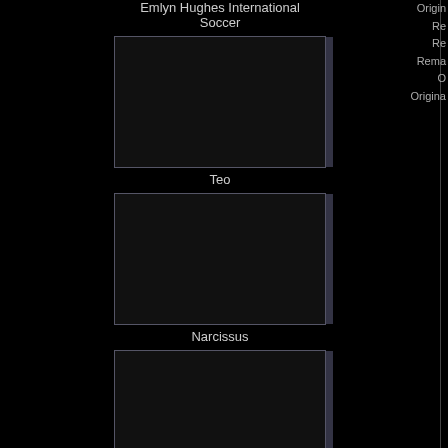Emlyn Hughes International Soccer
[Figure (screenshot): Game thumbnail for Teo]
Teo
[Figure (screenshot): Game thumbnail for Narcissus]
Narcissus
[Figure (screenshot): Game thumbnail for When 2 Worlds War AGA]
When 2 Worlds War AGA
[Figure (screenshot): Game thumbnail for Tusker]
Tusker
Origin Re Re Rema O Origina